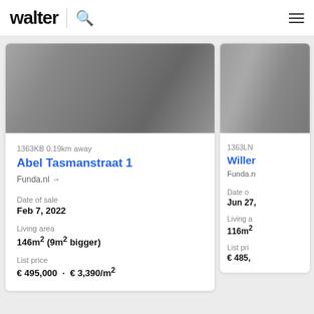walter
[Figure (photo): Blurred property photo for Abel Tasmanstraat 1]
1363KB 0.19km away
Abel Tasmanstraat 1
Funda.nl →
Date of sale
Feb 7, 2022
Living area
146m² (9m² bigger)
List price
€ 495,000  ·  € 3,390/m²
[Figure (photo): Blurred property photo for second listing (partially visible)]
1363LN
Willer
Funda.n
Date o
Jun 27,
Living a
116m²
List pri
€ 485,